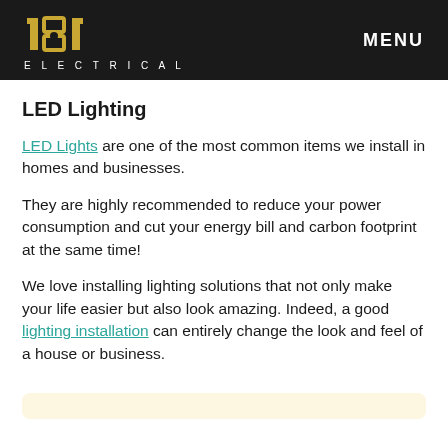181 ELECTRICAL | MENU
LED Lighting
LED Lights are one of the most common items we install in homes and businesses.
They are highly recommended to reduce your power consumption and cut your energy bill and carbon footprint at the same time!
We love installing lighting solutions that not only make your life easier but also look amazing. Indeed, a good lighting installation can entirely change the look and feel of a house or business.